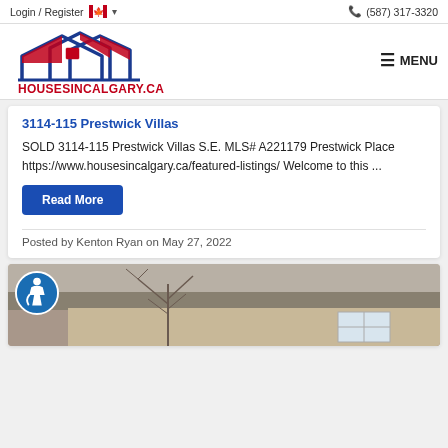Login / Register  (587) 317-3320
[Figure (logo): HousesinCalgary.ca logo with house/roof graphic in red and blue, text HOUSESINCALGARY.CA in red with blue underline]
3114-115 Prestwick Villas
SOLD 3114-115 Prestwick Villas S.E. MLS# A221179 Prestwick Place https://www.housesincalgary.ca/featured-listings/ Welcome to this ...
Read More
Posted by Kenton Ryan on May 27, 2022
[Figure (photo): Exterior photo of a house with bare winter trees, taupe/beige siding and roofline visible; accessibility icon in bottom-left corner]